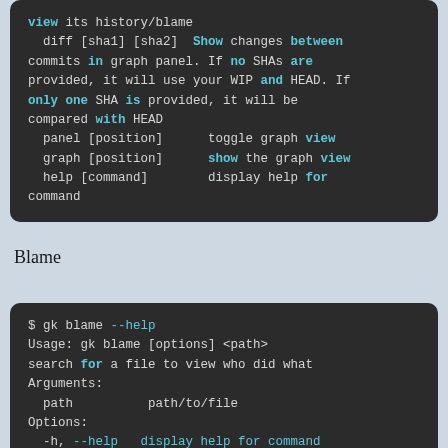view its history/blame
  diff [sha1] [sha2]  Show changes between commits in graph panel. If no SHAs are provided, it will use your WIP and HEAD. If only one SHA is provided, it will be compared with HEAD
  panel [position]      toggle graph view
  graph [position]      show the graph view
  help [command]        display help for command
Blame
$ gk blame --help
Usage: gk blame [options] <path>
search for a file to view who did what
Arguments:
  path          path/to/file
Options:
  -h, --help   display help for command